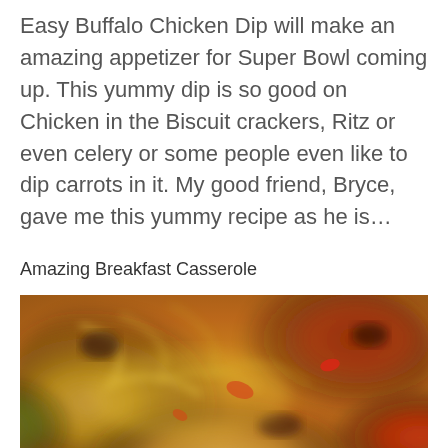Easy Buffalo Chicken Dip will make an amazing appetizer for Super Bowl coming up. This yummy dip is so good on Chicken in the Biscuit crackers, Ritz or even celery or some people even like to dip carrots in it. My good friend, Bryce, gave me this yummy recipe as he is…
Amazing Breakfast Casserole
[Figure (photo): Close-up photo of Amazing Breakfast Casserole with melted cheese, red peppers, and browned meat visible.]